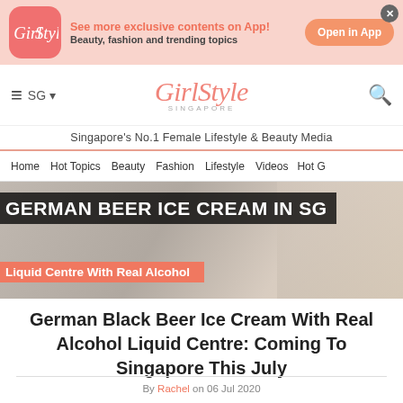See more exclusive contents on App! Beauty, fashion and trending topics | Open in App
[Figure (logo): GirlStyle app logo in pink square with rounded corners]
GirlStyle Singapore — Singapore's No.1 Female Lifestyle & Beauty Media
Home | Hot Topics | Beauty | Fashion | Lifestyle | Videos | Hot G
[Figure (photo): Hero image of German Beer Ice Cream with overlay text: GERMAN BEER ICE CREAM IN SG / Liquid Centre With Real Alcohol]
German Black Beer Ice Cream With Real Alcohol Liquid Centre: Coming To Singapore This July
By Rachel on 06 Jul 2020